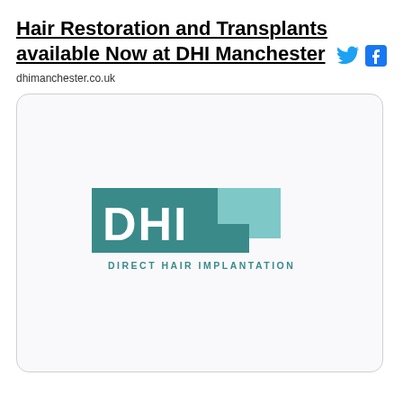Hair Restoration and Transplants available Now at DHI Manchester
dhimanchester.co.uk
[Figure (logo): DHI Direct Hair Implantation logo — teal rectangular block with white letters DHI and a lighter teal square cutout, with text DIRECT HAIR IMPLANTATION below]